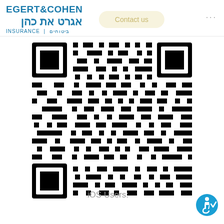[Figure (logo): Egert & Cohen Insurance logo with Hebrew text אגרט את כהן ביטוחים]
Contact us
...
[Figure (other): QR code in black and white]
iOS Users:
[Figure (other): Accessibility icon button (wheelchair with checkmark)]